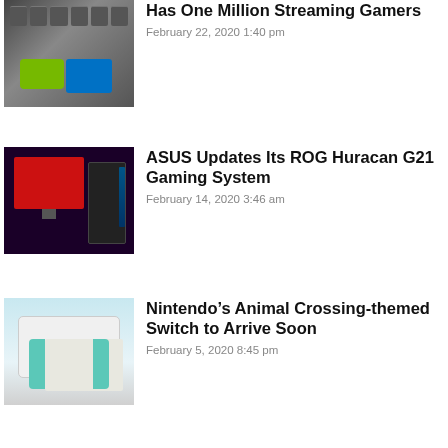[Figure (photo): Thumbnail showing keyboard keys with green Nvidia GeForce and blue Intel stickers]
Has One Million Streaming Gamers
February 22, 2020 1:40 pm
[Figure (photo): Thumbnail showing dark gaming setup with red monitor and tower PC]
ASUS Updates Its ROG Huracan G21 Gaming System
February 14, 2020 3:46 am
[Figure (photo): Thumbnail showing Animal Crossing themed Nintendo Switch console in teal/light blue color]
Nintendo’s Animal Crossing-themed Switch to Arrive Soon
February 5, 2020 8:45 pm